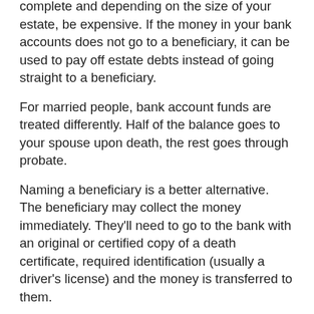complete and depending on the size of your estate, be expensive. If the money in your bank accounts does not go to a beneficiary, it can be used to pay off estate debts instead of going straight to a beneficiary.
For married people, bank account funds are treated differently. Half of the balance goes to your spouse upon death, the rest goes through probate.
Naming a beneficiary is a better alternative. The beneficiary may collect the money immediately. They'll need to go to the bank with an original or certified copy of a death certificate, required identification (usually a driver's license) and the money is transferred to them.
If you are married and don't live in a community property estate, a surviving spouse may be able to dispute the terms of a beneficiary arrangement, but that will take time.